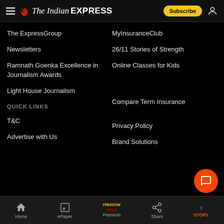The Indian EXPRESS — Subscribe
The ExpressGroup
MyInsuranceClub
Newsletters
26/11 Stories of Strength
Ramnath Goenka Excellence in Journalism Awards
Online Classes for Kids
Light House Journalism
Compare Term Insurance
QUICK LINKS
T&C
Privacy Policy
Advertise with Us
Brand Solutions
Home | ePaper | Premium | Share | STORY